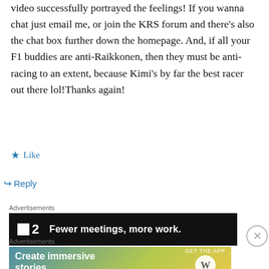video successfully portrayed the feelings! If you wanna chat just email me, or join the KRS forum and there's also the chat box further down the homepage. And, if all your F1 buddies are anti-Raikkonen, then they must be anti-racing to an extent, because Kimi's by far the best racer out there lol!Thanks again!
★ Like
↪ Reply
Advertisements
[Figure (screenshot): Advertisement banner: dark background with logo '▪2' and text 'Fewer meetings, more work.']
Advertisements
[Figure (screenshot): Advertisement banner with gradient background (teal to yellow): 'Create immersive stories.' with GET THE APP and WordPress logo]